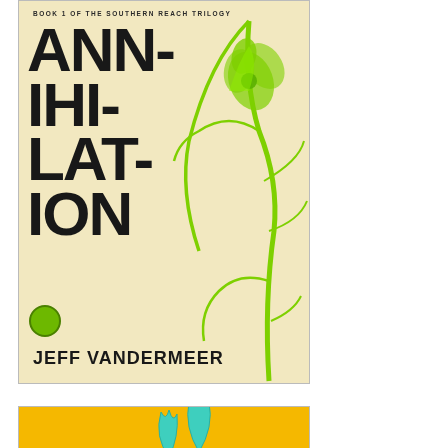[Figure (illustration): Book cover of 'Annihilation' by Jeff VanderMeer. Book 1 of the Southern Reach Trilogy. Cream/beige background with large bold black stacked letters spelling ANNIHILATION and a vivid neon green plant/tentacle botanical illustration overlapping the text. Author name JEFF VANDERMEER at the bottom in large bold black letters. Small circular green badge on lower left.]
[Figure (illustration): Partial view of a second book cover with a bright orange/yellow background and a teal/cyan illustrated shark fin or leaf shapes visible at the bottom of the page.]